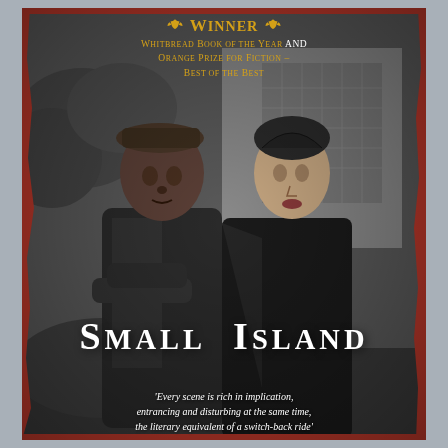[Figure (illustration): Book cover of 'Small Island' by Andrea Levy. Red border surrounds a black-and-white photograph of two women standing back to back — a Black woman wearing a hat on the left, and a white woman on the right. Urban buildings visible in background. Award text at top in gold, book title in white large serif text in lower-middle, and a review quote at bottom.]
WINNER Whitbread Book of the Year and Orange Prize for Fiction – Best of the Best
Small Island
'Every scene is rich in implication, entrancing and disturbing at the same time, the literary equivalent of a switch-back ride'